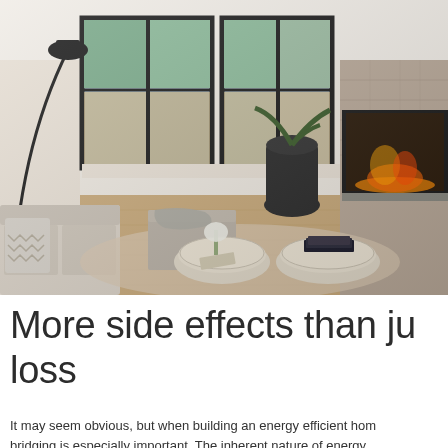[Figure (photo): Interior photo of a modern living room with large black-framed windows overlooking a wooded outdoor area, hardwood floors, a sectional sofa with patterned pillows, a grey ottoman with a draped throw, two round light-wood coffee tables, a large dark vase with a plant, fresh flowers in a vase, books stacked on the table, and a stone fireplace on the right wall.]
More side effects than just loss
It may seem obvious, but when building an energy efficient home, bridging is especially important. The inherent nature of energy